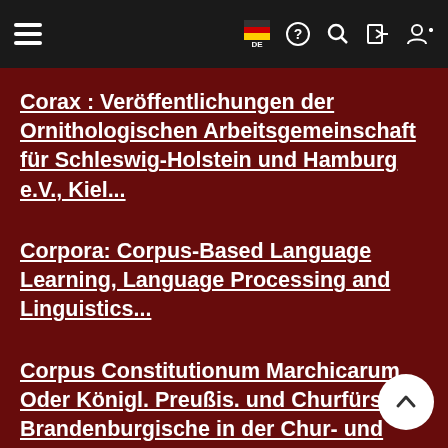[Figure (screenshot): Navigation bar with hamburger menu, flag (DE), help, search, login, and register icons on dark background]
Corax : Veröffentlichungen der Ornithologischen Arbeitsgemeinschaft für Schleswig-Holstein und Hamburg e.V., Kiel...
Corpora: Corpus-Based Language Learning, Language Processing and Linguistics...
Corpus Constitutionum Marchicarum, Oder Königl. Preußis. und Churfürstl. Brandenburgische in der Chur- und Marck Brandenburg, auch incorporirten